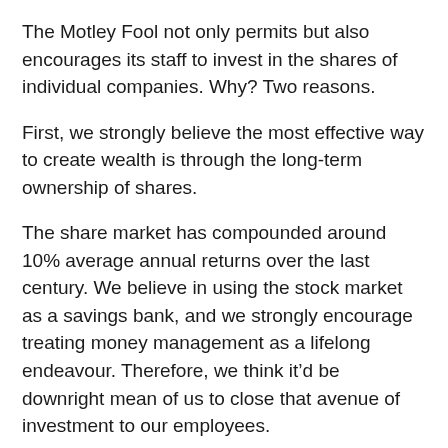The Motley Fool not only permits but also encourages its staff to invest in the shares of individual companies. Why? Two reasons.
First, we strongly believe the most effective way to create wealth is through the long-term ownership of shares.
The share market has compounded around 10% average annual returns over the last century. We believe in using the stock market as a savings bank, and we strongly encourage treating money management as a lifelong endeavour. Therefore, we think it'd be downright mean of us to close that avenue of investment to our employees.
Second, and more importantly, we don't consider our employees to be journalists, but rather communicators and teachers of financial matters.
It's a subtle but critical difference that affects our entire